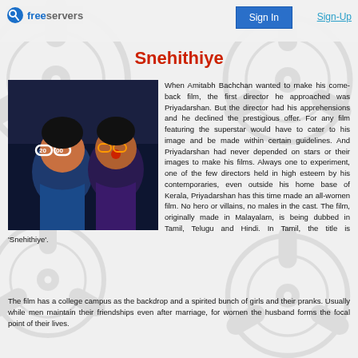freeservers  Sign In  Sign-Up
Snehithiye
[Figure (photo): Two people wearing novelty glasses shaped like '2000', in costume with face paint, dark background]
When Amitabh Bachchan wanted to make his come-back film, the first director he approached was Priyadarshan. But the director had his apprehensions and he declined the prestigious offer. For any film featuring the superstar would have to cater to his image and be made within certain guidelines. And Priyadarshan had never depended on stars or their images to make his films. Always one to experiment, one of the few directors held in high esteem by his contemporaries, even outside his home base of Kerala, Priyadarshan has this time made an all-women film. No hero or villains, no males in the cast. The film, originally made in Malayalam, is being dubbed in Tamil, Telugu and Hindi. In Tamil, the title is 'Snehithiye'.
The film has a college campus as the backdrop and a spirited bunch of girls and their pranks. Usually while men maintain their friendships even after marriage, for women the husband forms the focal point of their lives.